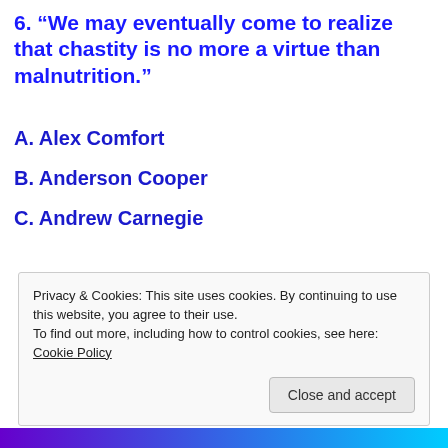6. “We may eventually come to realize that chastity is no more a virtue than malnutrition.”
A. Alex Comfort
B. Anderson Cooper
C. Andrew Carnegie
Privacy & Cookies: This site uses cookies. By continuing to use this website, you agree to their use.
To find out more, including how to control cookies, see here: Cookie Policy
Close and accept